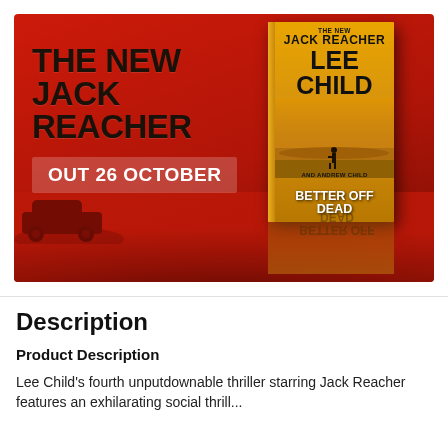[Figure (illustration): Promotional banner with red background showing 'The New Jack Reacher' text and 'Out 26 October' release date alongside a book cover for 'Better Off Dead' by Lee Child and Andrew Child]
Description
Product Description
Lee Child's fourth unputdownable thriller starring Jack Reacher features an exhilarating social thrill...